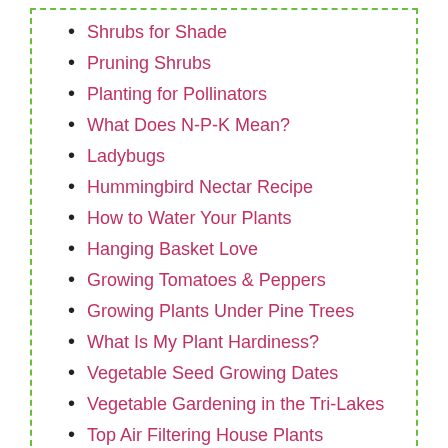Shrubs for Shade
Pruning Shrubs
Planting for Pollinators
What Does N-P-K Mean?
Ladybugs
Hummingbird Nectar Recipe
How to Water Your Plants
Hanging Basket Love
Growing Tomatoes & Peppers
Growing Plants Under Pine Trees
What Is My Plant Hardiness?
Vegetable Seed Growing Dates
Vegetable Gardening in the Tri-Lakes
Top Air Filtering House Plants